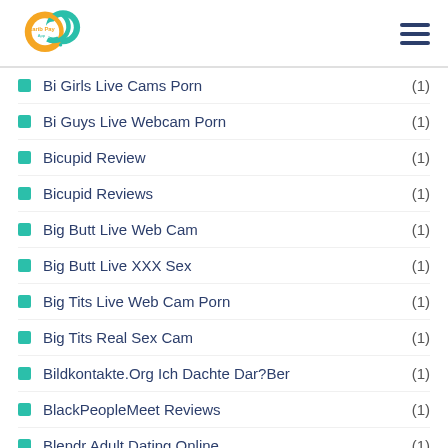Carib Pay App logo and navigation menu
Bi Girls Live Cams Porn (1)
Bi Guys Live Webcam Porn (1)
Bicupid Review (1)
Bicupid Reviews (1)
Big Butt Live Web Cam (1)
Big Butt Live XXX Sex (1)
Big Tits Live Web Cam Porn (1)
Big Tits Real Sex Cam (1)
Bildkontakte.Org Ich Dachte Dar?Ber (1)
BlackPeopleMeet Reviews (1)
Blendr Adult Dating Online (1)